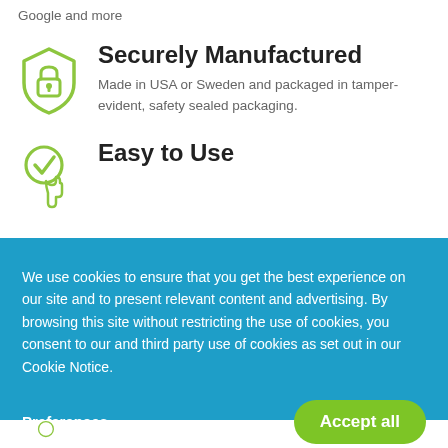Google and more
[Figure (illustration): Green shield with lock icon representing secure manufacturing]
Securely Manufactured
Made in USA or Sweden and packaged in tamper-evident, safety sealed packaging.
[Figure (illustration): Green checkmark with hand pointer icon representing easy to use]
Easy to Use
We use cookies to ensure that you get the best experience on our site and to present relevant content and advertising. By browsing this site without restricting the use of cookies, you consent to our and third party use of cookies as set out in our Cookie Notice.
Preferences
Accept all